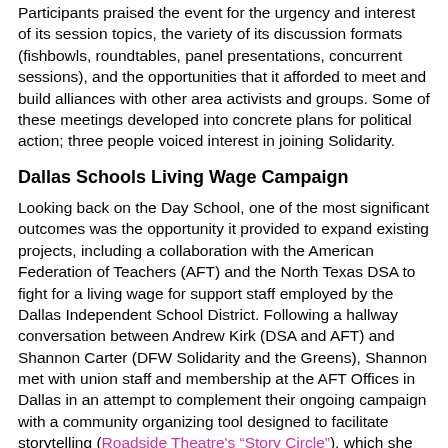Participants praised the event for the urgency and interest of its session topics, the variety of its discussion formats (fishbowls, roundtables, panel presentations, concurrent sessions), and the opportunities that it afforded to meet and build alliances with other area activists and groups. Some of these meetings developed into concrete plans for political action; three people voiced interest in joining Solidarity.
Dallas Schools Living Wage Campaign
Looking back on the Day School, one of the most significant outcomes was the opportunity it provided to expand existing projects, including a collaboration with the American Federation of Teachers (AFT) and the North Texas DSA to fight for a living wage for support staff employed by the Dallas Independent School District. Following a hallway conversation between Andrew Kirk (DSA and AFT) and Shannon Carter (DFW Solidarity and the Greens), Shannon met with union staff and membership at the AFT Offices in Dallas in an attempt to complement their ongoing campaign with a community organizing tool designed to facilitate storytelling (Roadside Theatre's "Story Circle"), which she has used successfully in other contexts (with incarcerated women and seniors in Dallas and with social-justice oriented academics in Boulder, Colorado). For months, this fight has been a major issue in North Texas DSA and is being watched...